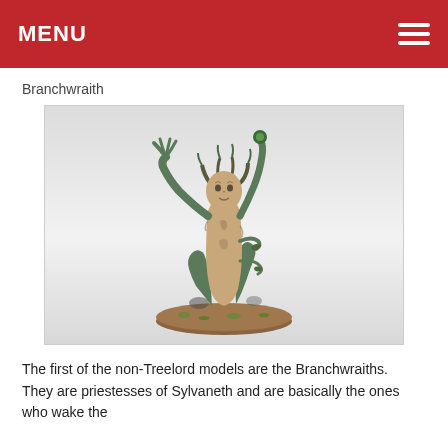MENU
Branchwraith
[Figure (photo): A painted Warhammer Age of Sigmar Branchwraith miniature figure — a tree-like female spirit with branch arms, long hair made of roots and leaves, standing on a scenic oval base with green flock. The model is painted in green, tan/beige, and brown tones.]
The first of the non-Treelord models are the Branchwraiths. They are priestesses of Sylvaneth and are basically the ones who wake the